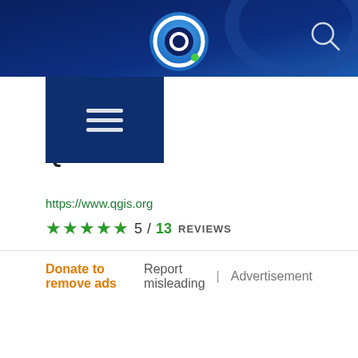[Figure (screenshot): Website/app navigation bar with blue gradient background, QGIS logo circle in center, search icon on right]
[Figure (logo): QGIS app icon - dark blue square with three white horizontal lines (hamburger menu icon)]
QGIS
https://www.qgis.org
★★★★★ 5 / 13 REVIEWS
Donate to remove ads   Report misleading | Advertisement